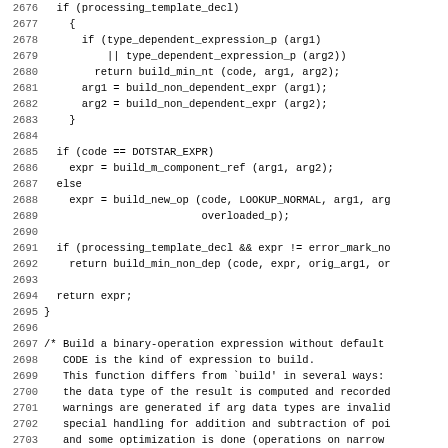[Figure (other): Source code listing (C/C++) with line numbers 2676-2707, showing template processing and binary operation building functions]